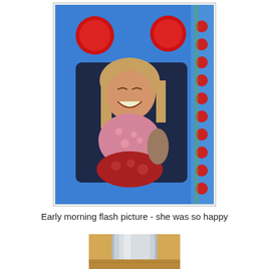[Figure (photo): A young girl with long blonde hair sitting cross-legged inside a blue toy car/train cutout, smiling broadly. She wears a pink floral top and red floral pants, holding a stuffed animal. The blue toy has two red circular lights on top and a decorative strip on the right side with red dots on green.]
Early morning flash picture - she was so happy
[Figure (photo): Partial view of a silver/metallic cylindrical object (possibly a thermos or container) on a wooden surface, cropped at the bottom of the page.]